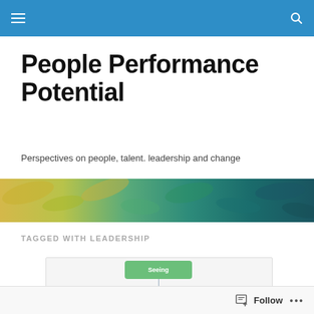People Performance Potential – navigation bar
People Performance Potential
Perspectives on people, talent. leadership and change
[Figure (photo): Abstract colourful textured banner image with blue-green and yellow tones]
TAGGED WITH LEADERSHIP
[Figure (flowchart): Diagram with three coloured boxes: Seeing (green, top centre), Thinking (blue-grey, bottom left), Feeling (orange, bottom right), connected by lines]
Follow ...